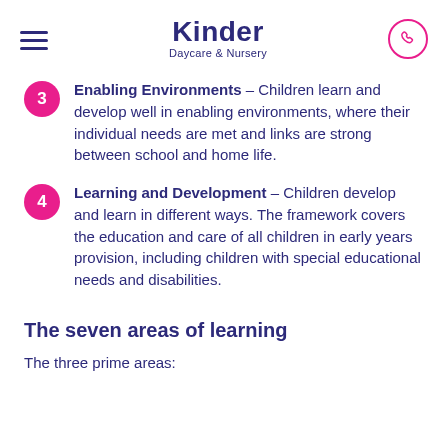Kinder Daycare & Nursery
Enabling Environments – Children learn and develop well in enabling environments, where their individual needs are met and links are strong between school and home life.
Learning and Development – Children develop and learn in different ways. The framework covers the education and care of all children in early years provision, including children with special educational needs and disabilities.
The seven areas of learning
The three prime areas: